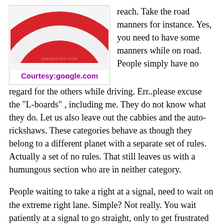[Figure (illustration): Partial circular red and white road sign (stop/no-entry style sign), cropped, with IMAGECHEF.COM watermark and Courtesy:google.com caption in purple bold text]
reach. Take the road manners for instance. Yes, you need to have some manners while on road. People simply have no regard for the others while driving. Err..please excuse the "L-boards" , including me. They do not know what they do. Let us also leave out the cabbies and the auto-rickshaws. These categories behave as though they belong to a different planet with a separate set of rules. Actually a set of no rules. That still leaves us with a humungous section who are in neither category.
People waiting to take a right at a signal, need to wait on the extreme right lane. Simple? Not really. You wait patiently at a signal to go straight, only to get frustrated as a jerk comes from the extreme left and blocks your way. The signal turns green to move ahead but you can't, since the right signal is off and the jerk that wants to go right won't budge. You lose your chance to move and have to wait for the next round. Tell me, how fair is this? Rinse, repeat when it's your turn to take a turn left at a signal. Changing lanes without adequate